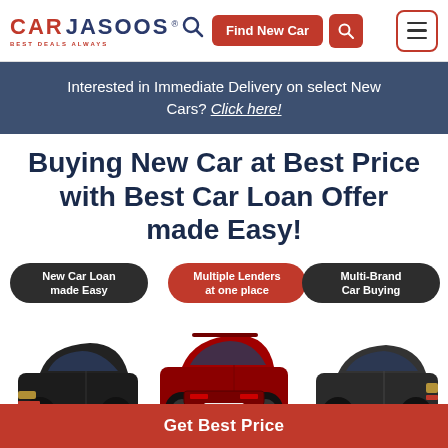[Figure (logo): Car Jasoos logo with red and dark blue text and magnifying glass icon]
Find New Car
Interested in Immediate Delivery on select New Cars? Click here!
Buying New Car at Best Price with Best Car Loan Offer made Easy!
[Figure (illustration): Three SUV cars side by side: black Tata Nexon on left, red Kia Seltos in center, dark Hyundai Creta on right, with three feature badges above them: 'New Car Loan made Easy', 'Multiple Lenders at one place', 'Multi-Brand Car Buying']
Get Best Price